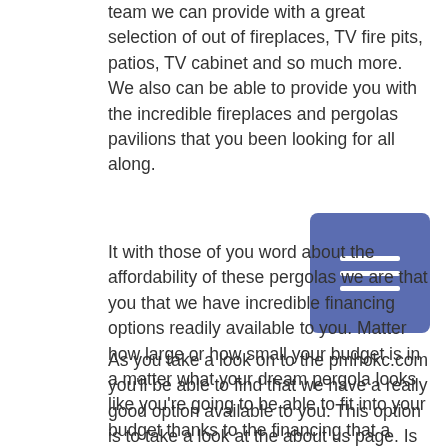team we can provide with a great selection of out of fireplaces, TV fire pits, patios, TV cabinet and so much more. We also can be able to provide you with the incredible fireplaces and pergolas pavilions that you been looking for all along.
It with those of you word about the affordability of these pergolas we are that you that we have incredible financing options readily available to you. Matter how large or how small your budget is in a matter what your dream pergola looks like you're going to be able to fit into your budget thanks to the financing that a team out here PMH OKC can provide to you.
As you take a look on to the pmhokc.com you'll be able to find that we have a really good option available to you. This option is to take a look at the about us page. Is a great way to get to know our team a little bit better Cetaphil even more